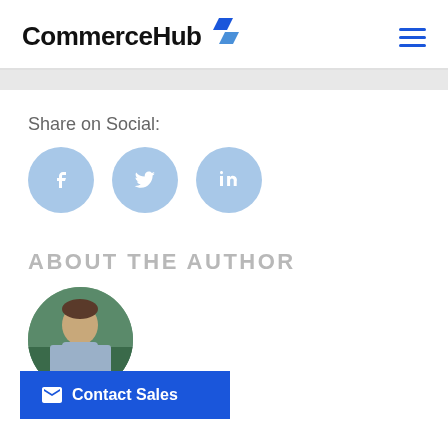CommerceHub
Share on Social:
[Figure (illustration): Three social media icon buttons: Facebook, Twitter, LinkedIn — light blue circles with white icons]
ABOUT THE AUTHOR
[Figure (photo): Circular author photo showing a person outdoors]
Contact Sales